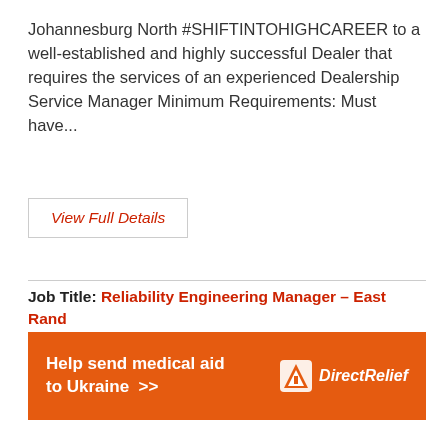Johannesburg North #SHIFTINTOHIGHCAREER to a well-established and highly successful Dealer that requires the services of an experienced Dealership Service Manager Minimum Requirements: Must have...
View Full Details
Job Title: Reliability Engineering Manager – East Rand
Working Hours: Monday - Friday
Job Location: East Rand, South Africa
[Figure (infographic): Orange advertisement banner reading 'Help send medical aid to Ukraine >>' with Direct Relief logo on the right]